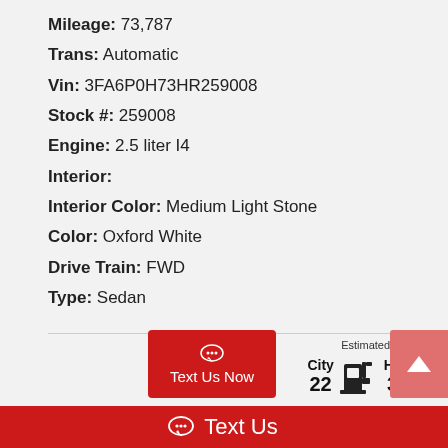Mileage: 73,787
Trans: Automatic
Vin: 3FA6P0H73HR259008
Stock #: 259008
Engine: 2.5 liter I4
Interior:
Interior Color: Medium Light Stone
Color: Oxford White
Drive Train: FWD
Type: Sedan
[Figure (infographic): EPA fuel economy estimate showing City 22 mpg and Hwy 34 mpg with a fuel pump icon, labeled Estimated By E.P.A.]
Text Us Now
Text Us